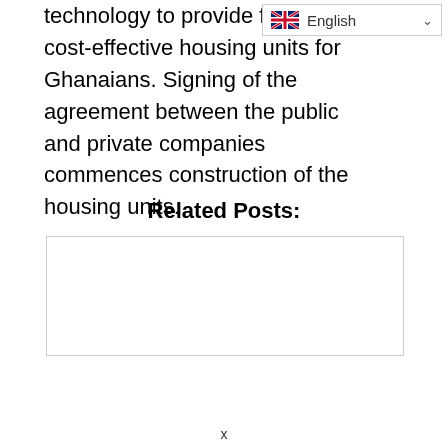[Figure (screenshot): Language selector dropdown showing UK flag and 'English' text with a chevron/dropdown arrow]
technology to provide fast and cost-effective housing units for Ghanaians. Signing of the agreement between the public and private companies commences construction of the housing units.
Related Posts:
[Figure (photo): Empty white image box with border, related post thumbnail placeholder]
x